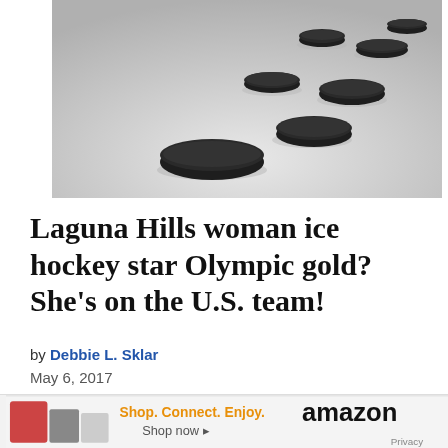[Figure (photo): Multiple black ice hockey pucks scattered on white ice surface, black and white photo]
Laguna Hills woman ice hockey star Olympic gold? She’s on the U.S. team!
by Debbie L. Sklar
May 6, 2017
[Figure (photo): Powerball lottery advertisement banner showing POWERBALL BALL calottery logo, WIN WITH THE ORIGINAL MILLIONAIRE MAKER text]
[Figure (screenshot): Amazon advertisement bar: Shop. Connect. Enjoy. amazon Shop now. Privacy link.]